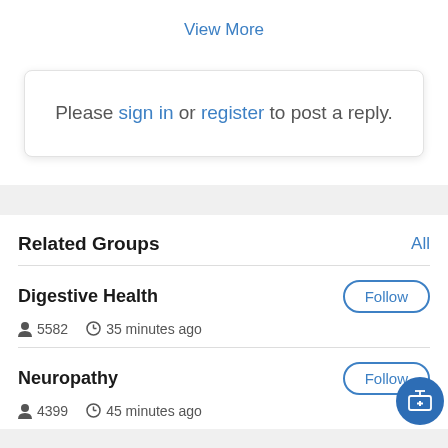View More
Please sign in or register to post a reply.
Related Groups
All
Digestive Health
Follow
5582   35 minutes ago
Neuropathy
Follow
4399   45 minutes ago